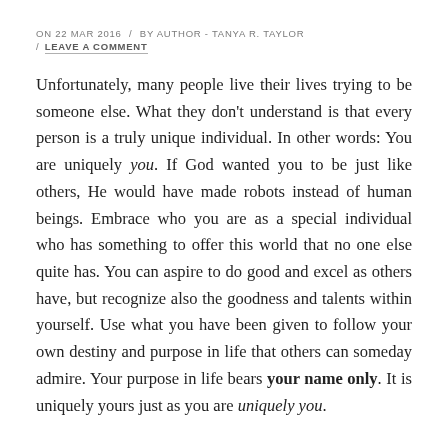ON 22 MAR 2016  /  BY AUTHOR - TANYA R. TAYLOR  /  LEAVE A COMMENT
Unfortunately, many people live their lives trying to be someone else. What they don't understand is that every person is a truly unique individual. In other words: You are uniquely you. If God wanted you to be just like others, He would have made robots instead of human beings. Embrace who you are as a special individual who has something to offer this world that no one else quite has. You can aspire to do good and excel as others have, but recognize also the goodness and talents within yourself. Use what you have been given to follow your own destiny and purpose in life that others can someday admire. Your purpose in life bears your name only. It is uniquely yours just as you are uniquely you.